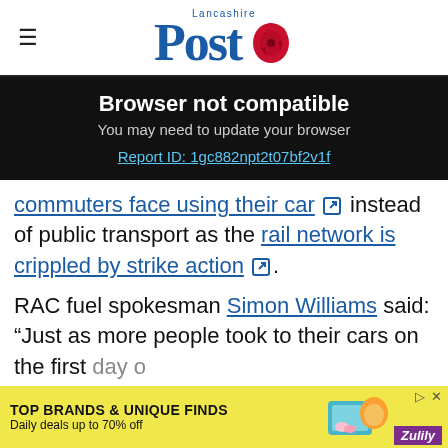Lancashire Post
Browser not compatible
You may need to update your browser
Report ID: 1gc882npt2t07bf2v1f
commuters face using their car instead of public transport as the rail network is crippled by strike action.
RAC fuel spokesman Simon Williams said: "Just as more people took to their cars on the first day of ... petrol incre... the